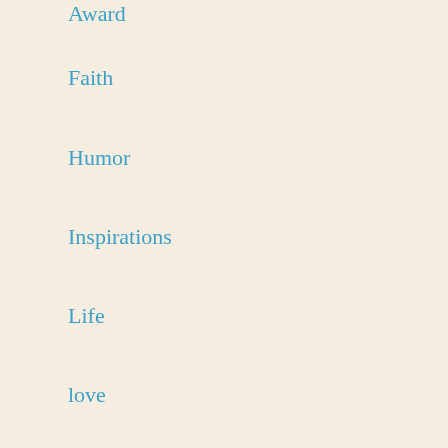Award
Faith
Humor
Inspirations
Life
love
Poetry
Spiritual
Meta
Register
Log in
Entries feed
Comments feed